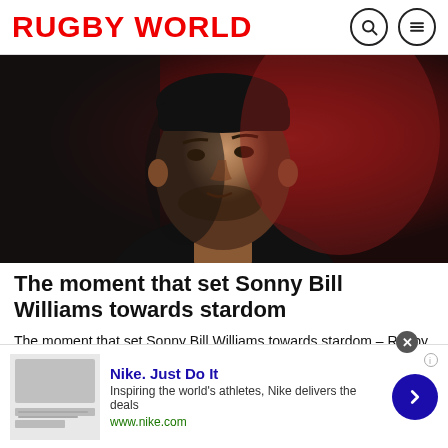RUGBY WORLD
[Figure (photo): Close-up portrait of Sonny Bill Williams against a dark red background, dramatic low-key lighting, man with short beard looking off to the side]
The moment that set Sonny Bill Williams towards stardom
The moment that set Sonny Bill Williams towards stardom – Rugby World reviews the All Black great's autobiograp...
Rugby World
Nike. Just Do It
Inspiring the world's athletes, Nike delivers the deals
www.nike.com